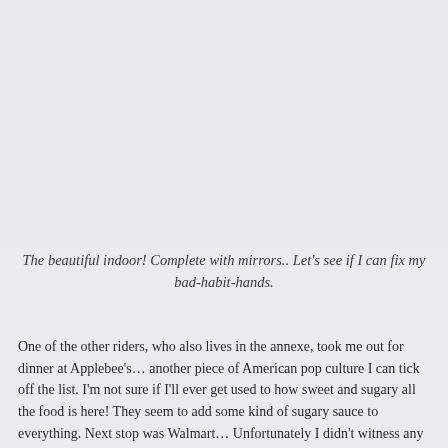[Figure (photo): Indoor equestrian arena with mirrors, light-colored walls and ceiling, gray background visible in image area.]
The beautiful indoor! Complete with mirrors.. Let's see if I can fix my bad-habit-hands.
One of the other riders, who also lives in the annexe, took me out for dinner at Applebee's… another piece of American pop culture I can tick off the list. I'm not sure if I'll ever get used to how sweet and sugary all the food is here! They seem to add some kind of sugary sauce to everything. Next stop was Walmart… Unfortunately I didn't witness any People of Walmart…